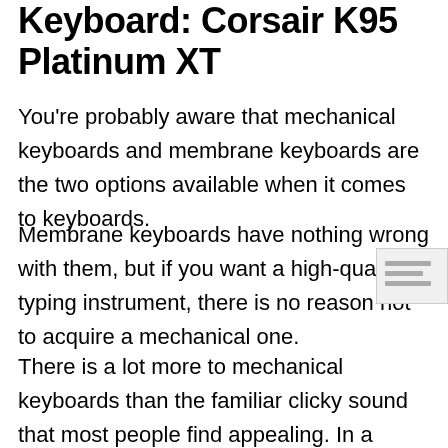Keyboard: Corsair K95 Platinum XT
You're probably aware that mechanical keyboards and membrane keyboards are the two options available when it comes to keyboards.
Membrane keyboards have nothing wrong with them, but if you want a high-quality typing instrument, there is no reason not to acquire a mechanical one.
There is a lot more to mechanical keyboards than the familiar clicky sound that most people find appealing. In a nutshell, mechanical keyboards have two advantages over membrane ones: each